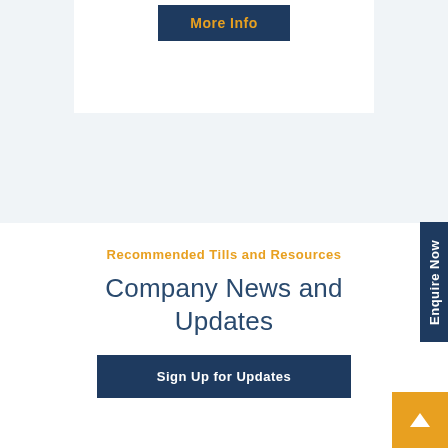[Figure (screenshot): More Info button on dark navy background within a white card area]
Recommended Tills and Resources
Company News and Updates
Sign Up for Updates
Enquire Now